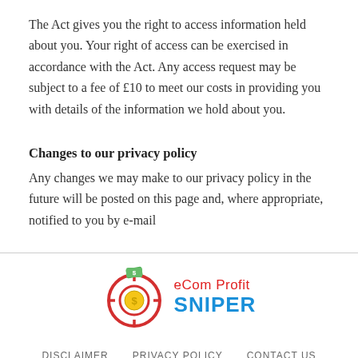The Act gives you the right to access information held about you. Your right of access can be exercised in accordance with the Act. Any access request may be subject to a fee of £10 to meet our costs in providing you with details of the information we hold about you.
Changes to our privacy policy
Any changes we may make to our privacy policy in the future will be posted on this page and, where appropriate, notified to you by e-mail
[Figure (logo): eCom Profit Sniper logo with a red target/crosshair circle icon and green cash icon, with 'eCom Profit' in red and 'SNIPER' in blue bold text]
DISCLAIMER   PRIVACY POLICY   CONTACT US